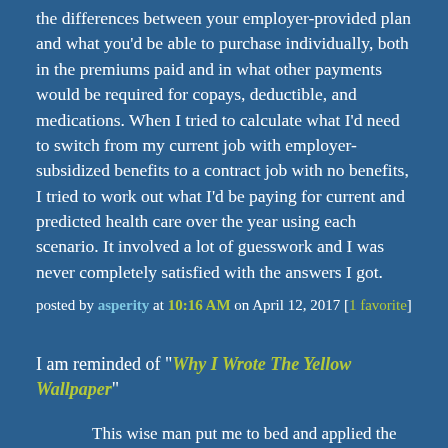the differences between your employer-provided plan and what you'd be able to purchase individually, both in the premiums paid and in what other payments would be required for copays, deductible, and medications. When I tried to calculate what I'd need to switch from my current job with employer-subsidized benefits to a contract job with no benefits, I tried to work out what I'd be paying for current and predicted health care over the year using each scenario. It involved a lot of guesswork and I was never completely satisfied with the answers I got.
posted by asperity at 10:16 AM on April 12, 2017 [1 favorite]
I am reminded of "Why I Wrote The Yellow Wallpaper"
This wise man put me to bed and applied the rest cure, to which a still good physique responded so promptly that he concluded there was nothing much the matter with me, and sent me home with solemn